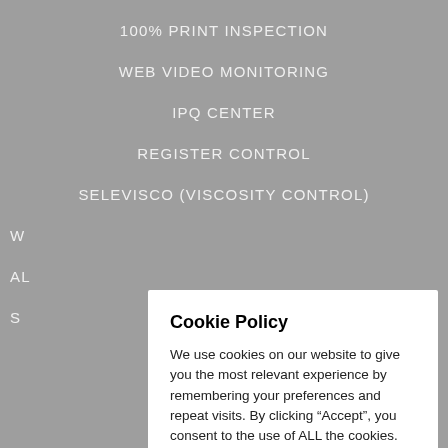100% PRINT INSPECTION
WEB VIDEO MONITORING
iPQ CENTER
REGISTER CONTROL
SELEVISCO (VISCOSITY CONTROL)
W...
AL...
S...
Cookie Policy
We use cookies on our website to give you the most relevant experience by remembering your preferences and repeat visits. By clicking “Accept”, you consent to the use of ALL the cookies.
Cookie settings
ACCEPT